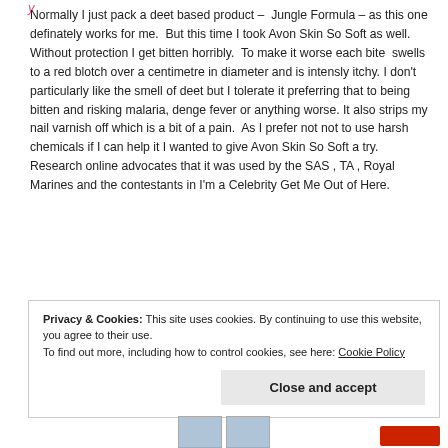Normally I just pack a deet based product – Jungle Formula – as this one definately works for me. But this time I took Avon Skin So Soft as well. Without protection I get bitten horribly. To make it worse each bite swells to a red blotch over a centimetre in diameter and is intensly itchy. I don't particularly like the smell of deet but I tolerate it preferring that to being bitten and risking malaria, denge fever or anything worse. It also strips my nail varnish off which is a bit of a pain. As I prefer not not to use harsh chemicals if I can help it I wanted to give Avon Skin So Soft a try. Research online advocates that it was used by the SAS , TA , Royal Marines and the contestants in I'm a Celebrity Get Me Out of Here.
Privacy & Cookies: This site uses cookies. By continuing to use this website, you agree to their use. To find out more, including how to control cookies, see here: Cookie Policy